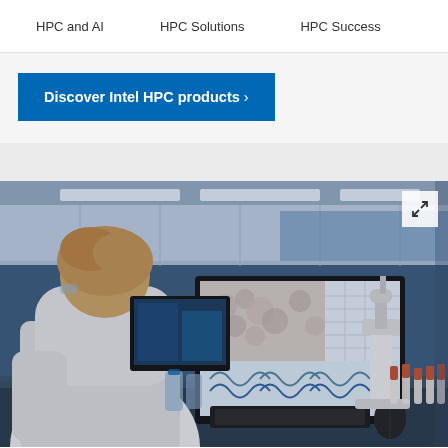HPC and AI   HPC Solutions   HPC Success
Discover Intel HPC products ›
[Figure (photo): A scientist in a white lab coat viewed from behind, sitting at a desk with a large monitor displaying DNA/microscopy analysis software. A microscope is visible on the right side of the desk, along with laboratory vials and equipment. The background shows a modern laboratory environment.]